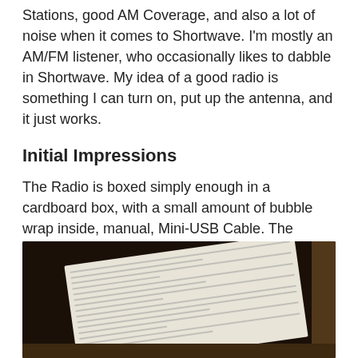Stations, good AM Coverage, and also a lot of noise when it comes to Shortwave. I'm mostly an AM/FM listener, who occasionally likes to dabble in Shortwave. My idea of a good radio is something I can turn on, put up the antenna, and it just works.
Initial Impressions
The Radio is boxed simply enough in a cardboard box, with a small amount of bubble wrap inside, manual, Mini-USB Cable. The Lithium-Ion Battery comes pre-installed.
[Figure (photo): Photo of an open cardboard box showing a printed manual/document sheet inside, with bubble wrap and dark box interior visible.]